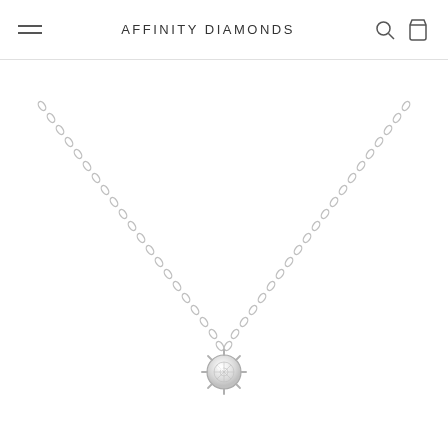AFFINITY DIAMONDS
[Figure (photo): A diamond solitaire pendant necklace with a round brilliant-cut diamond in a prong setting, suspended from a delicate silver chain, photographed on a white background.]